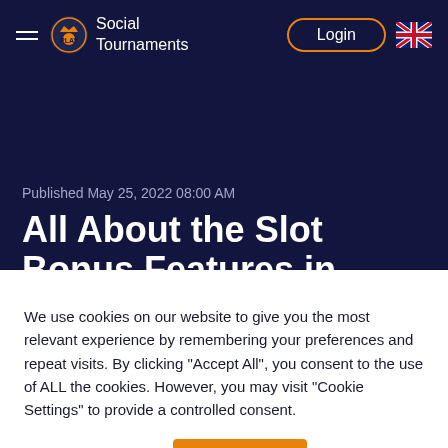Social Tournaments — Navigation with Login
Published May 25, 2022 08:00 AM
All About the Slot Bonus Features in Pragmatic Play
We use cookies on our website to give you the most relevant experience by remembering your preferences and repeat visits. By clicking "Accept All", you consent to the use of ALL the cookies. However, you may visit "Cookie Settings" to provide a controlled consent.
Cookie Settings | Accept All